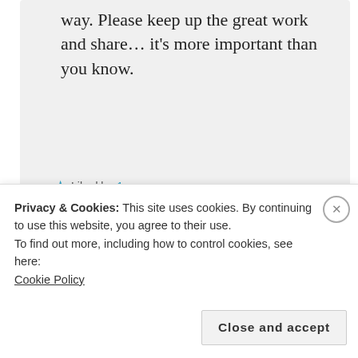way. Please keep up the great work and share… it's more important than you know.
★ Liked by 1 person
JUNE 27, 2018 AT 9:05 AM
↳ REPLY
Privacy & Cookies: This site uses cookies. By continuing to use this website, you agree to their use.
To find out more, including how to control cookies, see here:
Cookie Policy
Close and accept